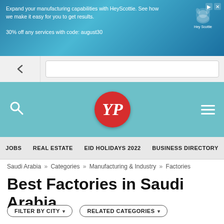[Figure (screenshot): Advertisement banner for HeyScottie manufacturing services with blue background and dog logo. Text: 'Expand your manufacturing capabilities with HeyScottie. See how we make it easy for you to get results. 30% off any services with code: august30']
[Figure (logo): YP (Yellow Pages) logo - red circle with white YP text]
JOBS   REAL ESTATE   EID HOLIDAYS 2022   BUSINESS DIRECTORY
Saudi Arabia » Categories » Manufacturing & Industry » Factories
Best Factories in Saudi Arabia
FILTER BY CITY ▼   RELATED CATEGORIES ▼